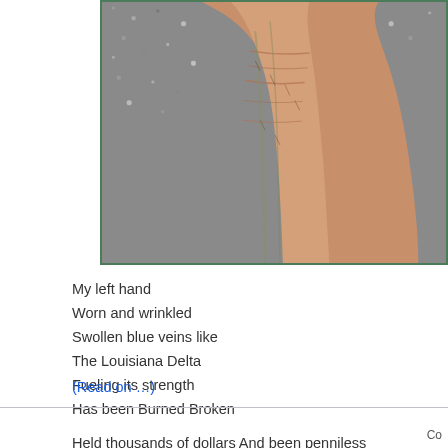[Figure (photo): A close-up photograph of an elderly person's left hand and wrist, showing aged, wrinkled skin with visible veins, resting against a grey background.]
My left hand
Worn and wrinkled
Swollen blue veins like
The Louisiana Delta
Fueling its strength
Has been Burned Broken

Held thousands of dollars And been penniless
(Read on …)
Co